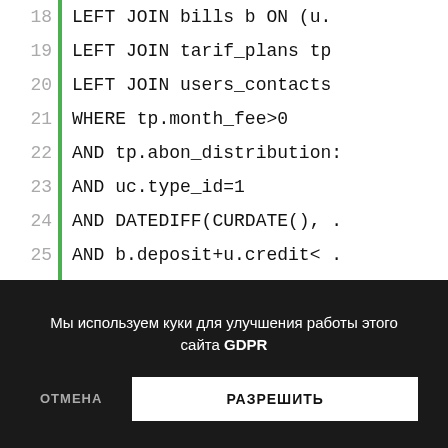[Figure (screenshot): Code editor showing SQL query lines 18-30 with green vertical bar indicator on left side. Lines show: 18 LEFT JOIN bills b ON (u., 19 LEFT JOIN tarif_plans tp, 20 LEFT JOIN users_contacts, 21 WHERE tp.month_fee>0, 22 AND tp.abon_distribution:, 23 AND uc.type_id=1, 24 AND DATEDIFF(CURDATE(),, 25 AND b.deposit+u.credit<, 26 AND u.reduction=0, 27 AND u.company_id=0, 28 AND u.disable=0, 29 AND im.disable=0, 30 AND u.pi...actual_mob=1:]
Мы используем куки для улучшения работы этого сайта GDPR
ОТМЕНА
РАЗРЕШИТЬ